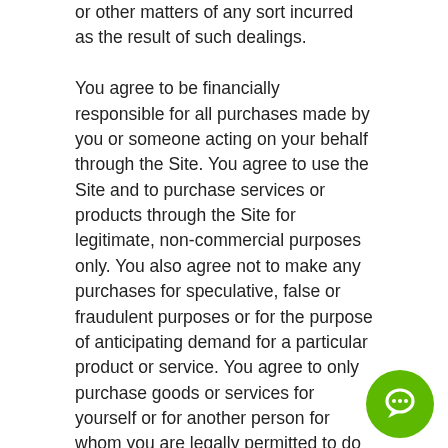or other matters of any sort incurred as the result of such dealings.

You agree to be financially responsible for all purchases made by you or someone acting on your behalf through the Site. You agree to use the Site and to purchase services or products through the Site for legitimate, non-commercial purposes only. You also agree not to make any purchases for speculative, false or fraudulent purposes or for the purpose of anticipating demand for a particular product or service. You agree to only purchase goods or services for yourself or for another person for whom you are legally permitted to do so. When making a purchase for a third party that requires
[Figure (illustration): Green circular chat bubble button in the bottom-right corner of the page]